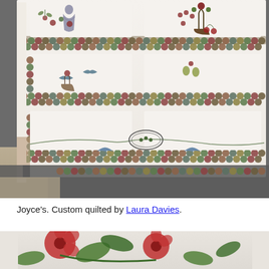[Figure (photo): Photo of an elaborate appliqué quilt with floral, bird, and fruit motifs on a white background with a hexagon-pieced border, displayed hanging against a wall. A person's feet and legs are partially visible at the lower left.]
Joyce's. Custom quilted by Laura Davies.
[Figure (photo): Close-up photo of an appliqué quilt showing large red poppies and green leaves on a white quilted background.]